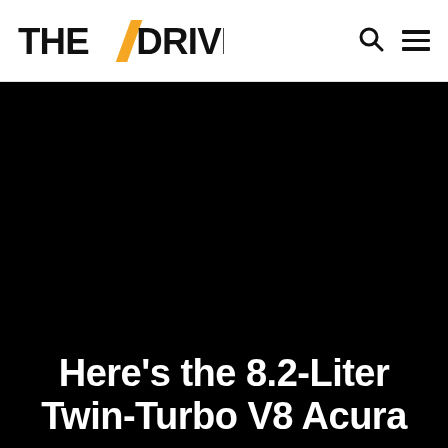THE DRIVE
[Figure (photo): Black background / dark hero image area for an article about an 8.2-Liter Twin-Turbo V8 Acura]
Here's the 8.2-Liter Twin-Turbo V8 Acura